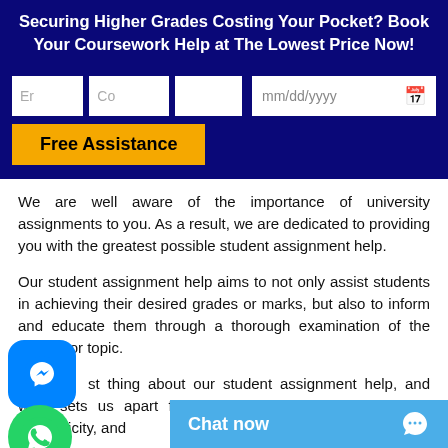Securing Higher Grades Costing Your Pocket? Book Your Coursework Help at The Lowest Price Now!
[Figure (screenshot): Web form with input fields for email, country, blank field, and date picker, plus a yellow 'Free Assistance' button, on dark blue background]
We are well aware of the importance of university assignments to you. As a result, we are dedicated to providing you with the greatest possible student assignment help.
Our student assignment help aims to not only assist students in achieving their desired grades or marks, but also to inform and educate them through a thorough examination of the subject or topic.
The best thing about our student assignment help, and what sets us apart from the competition, is the quality, authenticity, and reliability of our services.
If you are a university student to all of the demands on...
[Figure (logo): Facebook Messenger circular blue icon]
[Figure (logo): WhatsApp green circular icon]
[Figure (screenshot): Blue chat now bar at the bottom with chat icon]